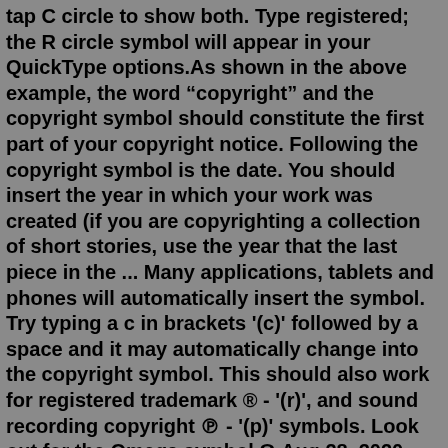tap C circle to show both. Type registered; the R circle symbol will appear in your QuickType options.As shown in the above example, the word “copyright” and the copyright symbol should constitute the first part of your copyright notice. Following the copyright symbol is the date. You should insert the year in which your work was created (if you are copyrighting a collection of short stories, use the year that the last piece in the ... Many applications, tablets and phones will automatically insert the symbol. Try typing a c in brackets '(c)' followed by a space and it may automatically change into the copyright symbol. This should also work for registered trademark ® - '(r)', and sound recording copyright ℗ - '(p)' symbols. Look out for the Omega symbol Ω Aug 28, 2020 · The symbol TM means "trademark". In principle, it is affixed when the trademark is used without having been registered, or when it has been registered but is not registered. In the first case, it may be a mark with little or no distinctiveness. The owner knows that he will not